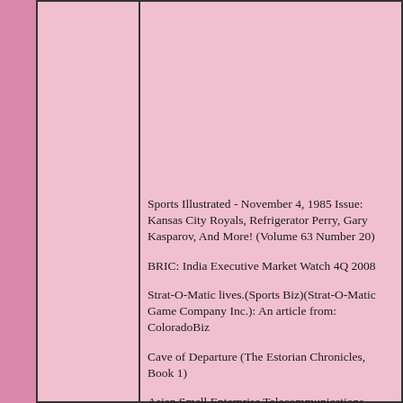Sports Illustrated - November 4, 1985 Issue: Kansas City Royals, Refrigerator Perry, Gary Kasparov, And More! (Volume 63 Number 20)
BRIC: India Executive Market Watch 4Q 2008
Strat-O-Matic lives.(Sports Biz)(Strat-O-Matic Game Company Inc.): An article from: ColoradoBiz
Cave of Departure (The Estorian Chronicles, Book 1)
Asian Small Enterprise Telecommunications Usage and Preferences - a Vertical Industry Analysis, 2004
The 21-Day Sugar Detox: Bust Sugar & Carb Cravings